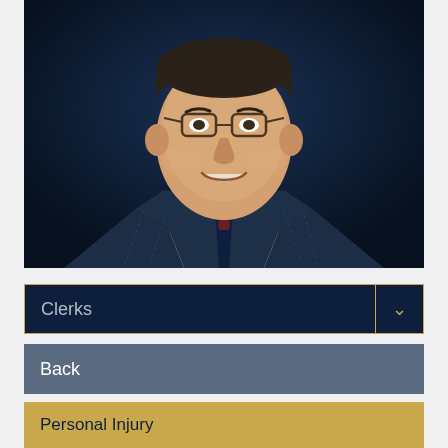[Figure (photo): Professional headshot of a middle-aged man wearing glasses, a dark navy suit, white shirt, and a navy and dark red striped tie. The background is dark navy blue. The man is smiling.]
Clerks
Back
Personal Injury